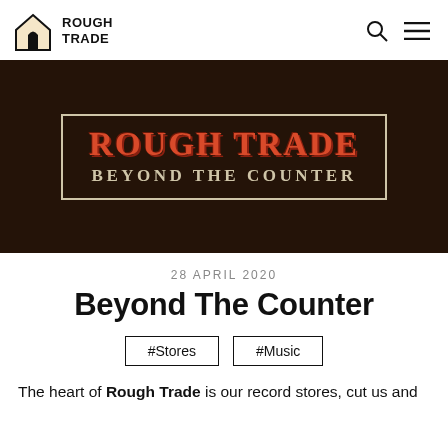ROUGH TRADE
[Figure (illustration): Dark brown textured background with a framed banner reading 'ROUGH TRADE BEYOND THE COUNTER' in retro western-style typography. Title in red with cream subtitle text.]
28 APRIL 2020
Beyond The Counter
#Stores  #Music
The heart of Rough Trade is our record stores, cut us and